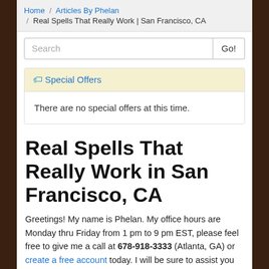Home / Articles By Phelan / Real Spells That Really Work | San Francisco, CA
Search  Go!
Special Offers
There are no special offers at this time.
Real Spells That Really Work in San Francisco, CA
Greetings! My name is Phelan. My office hours are Monday thru Friday from 1 pm to 9 pm EST, please feel free to give me a call at 678-918-3333 (Atlanta, GA) or create a free account today. I will be sure to assist you with psychic phone consultations to reveal your spiritual path and to remove obstacles even if